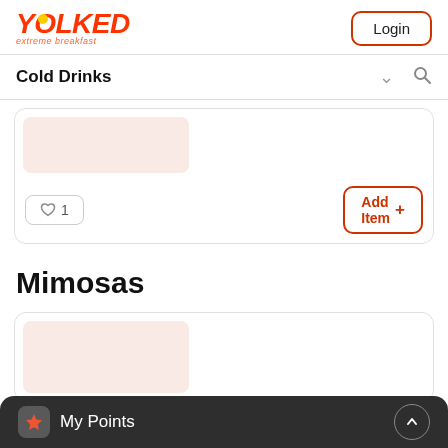[Figure (logo): Yolked Extreme Breakfast logo in red/orange italic bold text with 'extreme breakfast' subtitle]
Login
Cold Drinks
[Figure (screenshot): Partial menu item card with pinkish placeholder image, heart button showing '1', and 'Add Item +' button in red outline]
Mimosas
[Figure (screenshot): Partial menu item card with pinkish placeholder image, partially visible at bottom]
My Points